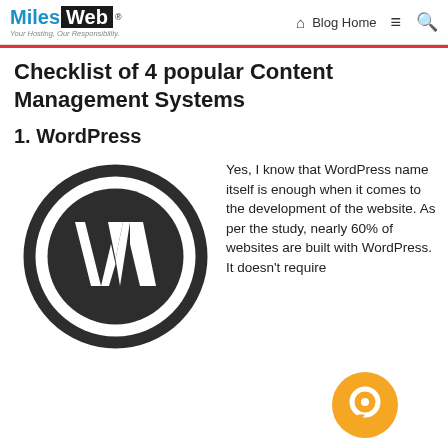MilesWeb | Blog Home
Checklist of 4 popular Content Management Systems
1. WordPress
[Figure (logo): WordPress logo: dark circle with white W letter mark inside]
Yes, I know that WordPress name itself is enough when it comes to the development of the website. As per the study, nearly 60% of websites are built with WordPress. It doesn't require